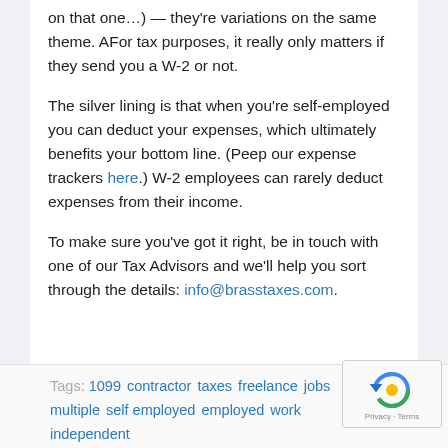on that one…) — they're variations on the same theme. AFor tax purposes, it really only matters if they send you a W-2 or not.
The silver lining is that when you're self-employed you can deduct your expenses, which ultimately benefits your bottom line. (Peep our expense trackers here.) W-2 employees can rarely deduct expenses from their income.
To make sure you've got it right, be in touch with one of our Tax Advisors and we'll help you sort through the details: info@brasstaxes.com.
Tags: 1099  contractor  taxes  freelance  jobs  multiple  self employed  employed  work  independent